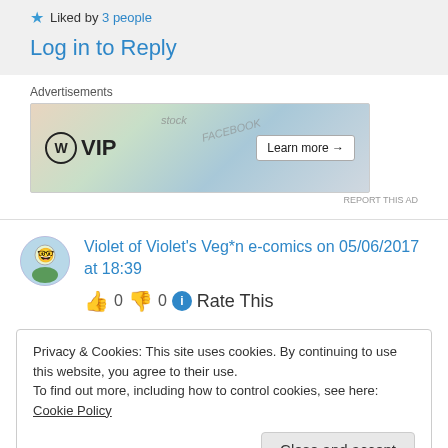★ Liked by 3 people
Log in to Reply
Advertisements
[Figure (other): WordPress VIP advertisement banner with social media logos and 'Learn more' button]
Violet of Violet's Veg*n e-comics on 05/06/2017 at 18:39
👍 0 👎 0 ℹ Rate This
Privacy & Cookies: This site uses cookies. By continuing to use this website, you agree to their use.
To find out more, including how to control cookies, see here: Cookie Policy
Close and accept